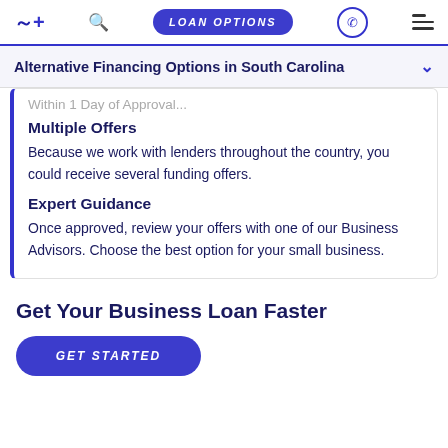LOAN OPTIONS
Alternative Financing Options in South Carolina
Within 1 Day of Approval...
Multiple Offers
Because we work with lenders throughout the country, you could receive several funding offers.
Expert Guidance
Once approved, review your offers with one of our Business Advisors. Choose the best option for your small business.
Get Your Business Loan Faster
GET STARTED